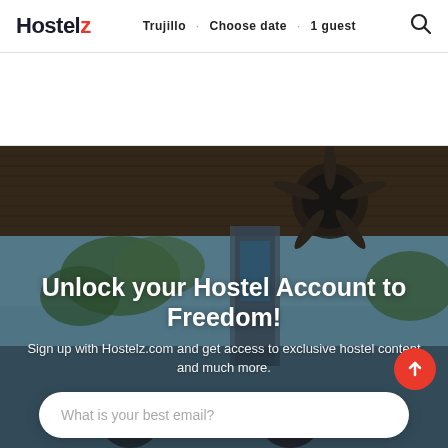Hostelz  ·  Trujillo  ·  Choose date  ·  1 guest
[Figure (photo): Hostelz.com website screenshot showing a hero section with a thatched-roof hostel bar/terrace photo. Overlaid white text reads 'Unlock your Hostel Account to Freedom!' with subtext 'Sign up with Hostelz.com and get access to exclusive hostel content and much more.' Below is an email input field placeholder 'What is your best email?']
Unlock your Hostel Account to Freedom!
Sign up with Hostelz.com and get access to exclusive hostel content and much more.
What is your best email?